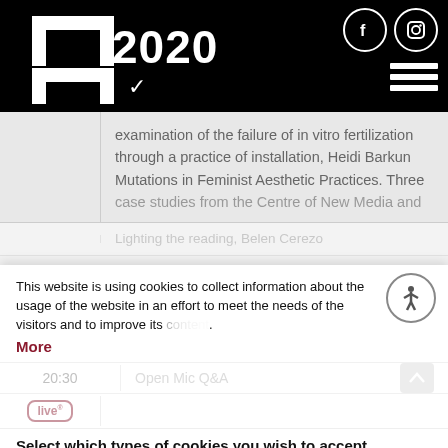THT 2020 — website header with logo, year selector, social icons, and menu
examination of the failure of in vitro fertilization through a practice of installation, Heidi Barkun Mutations in Feminist Aesthetic Practices. Three case studies from the Centre of New Media and
This website is using cookies to collect information about the usage of the website in an effort to meet the needs of the visitors and to improve its content.
More
Lighting the reading, Belen Cerezo
Demain il faut que tu t'en ailles, Talia de Vries
Select which types of cookies you wish to accept
20:30  Open Mic Q&A
Necessary  Performance  Operation  Third Party
21:00  Repeat Program Day 1
Accept